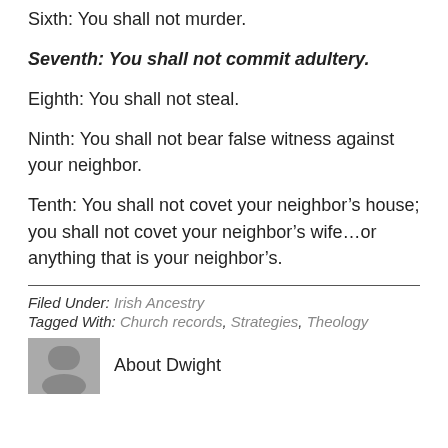Sixth: You shall not murder.
Seventh: You shall not commit adultery.
Eighth: You shall not steal.
Ninth: You shall not bear false witness against your neighbor.
Tenth: You shall not covet your neighbor’s house; you shall not covet your neighbor’s wife…or anything that is your neighbor’s.
Filed Under: Irish Ancestry
Tagged With: Church records, Strategies, Theology
About Dwight